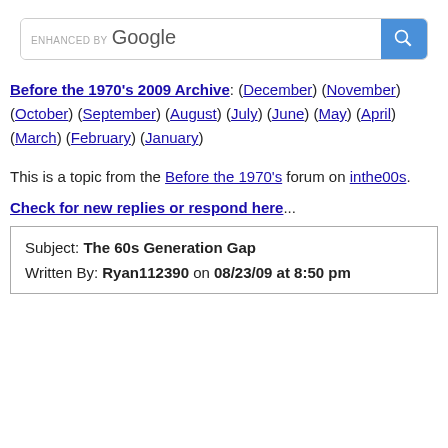[Figure (screenshot): Google custom search bar with 'ENHANCED BY Google' label and a blue search button with magnifying glass icon]
Before the 1970's 2009 Archive: (December) (November) (October) (September) (August) (July) (June) (May) (April) (March) (February) (January)
This is a topic from the Before the 1970's forum on inthe00s.
Check for new replies or respond here...
| Subject: | The 60s Generation Gap |
| Written By: | Ryan112390 on 08/23/09 at 8:50 pm |